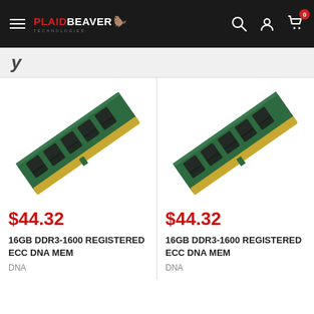PlaidBeaver Technologies — navigation bar with hamburger menu, logo, search, account, and cart (0 items)
y…
[Figure (photo): Green DDR3 RAM memory module (16GB) shown at an angle against white background]
$44.32
16GB DDR3-1600 REGISTERED ECC DNA MEM
DNA
[Figure (photo): Green DDR3 RAM memory module (16GB) shown at an angle against white background, partially cropped]
$44.32
16GB DDR3-1600 REGISTERED ECC DNA MEM
DNA